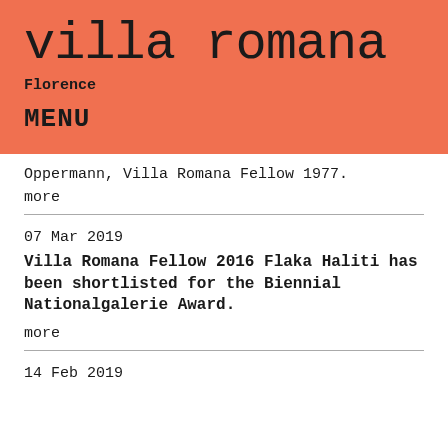villa romana
Florence
MENU
Oppermann, Villa Romana Fellow 1977.
more
07 Mar 2019
Villa Romana Fellow 2016 Flaka Haliti has been shortlisted for the Biennial Nationalgalerie Award.
more
14 Feb 2019